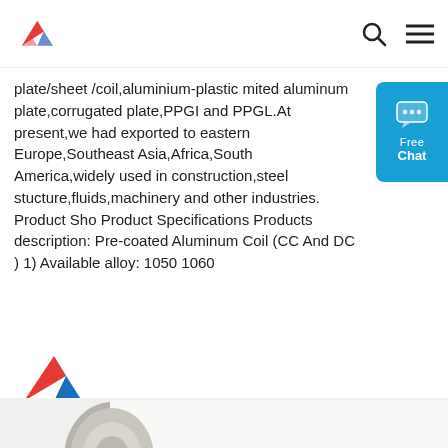Climb Aluminium logo, search icon, menu icon
plate/sheet/coil,aluminium-plastic mited aluminum plate,corrugated plate,PPGI and PPGL.At present,we had exported to eastern Europe,Southeast Asia,Africa,South America,widely used in construction,steel stucture,fluids,machinery and other industries. Product Sho Product Specifications Products description: Pre-coated Aluminum Coil (CC And DC ) 1) Available alloy: 1050 1060
Free Chat
Get Price
[Figure (logo): Climb Alu logo with triangular mountain icon and text CLIMB ALU]
[Figure (photo): Large roll of white pre-coated aluminum coil on a light background]